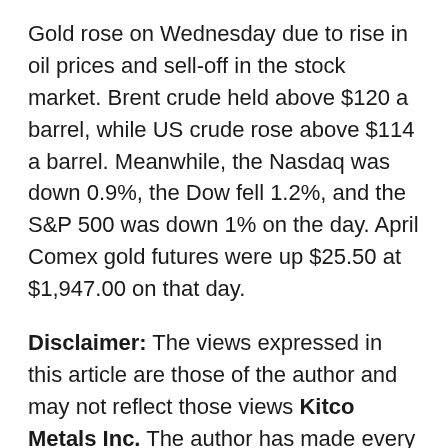Gold rose on Wednesday due to rise in oil prices and sell-off in the stock market. Brent crude held above $120 a barrel, while US crude rose above $114 a barrel. Meanwhile, the Nasdaq was down 0.9%, the Dow fell 1.2%, and the S&P 500 was down 1% on the day. April Comex gold futures were up $25.50 at $1,947.00 on that day.
Disclaimer: The views expressed in this article are those of the author and may not reflect those views Kitco Metals Inc. The author has made every effort to ensure the accuracy of the information provided; However, neither Kitco Metals Inc. nor the author can guarantee such accuracy. This article is strictly for informational purposes only. It is not a solicitation to exchange goods, securities or other financial instruments. Kitco Metals Inc. and the author of this article is not liable for damages and/or damages caused